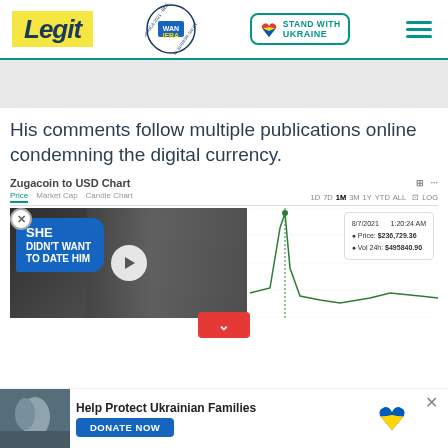Legit | Best News Website in Africa 2021 · WAN-IFRA | Stand With Ukraine
His comments follow multiple publications online condemning the digital currency.
[Figure (screenshot): Zugacoin to USD Chart screenshot showing price chart with video overlay. Chart controls show Price, Market Cap, Candle Chart tabs and time period selectors (1D, 7D, 1M, 3M, 1Y, YTD, ALL, LOG). Tooltip shows date 8/7/2021 1:20:24 AM, Price: $236,729.36, Vol 24h: $495840.90. Green line chart visible behind video overlay.]
[Figure (screenshot): Video overlay showing couple (woman in white dress and man in tuxedo) with text 'SHE DIDN'T WANT TO DATE HIM' in blue bubble, with play button and red chevron dismiss button.]
Help Protect Ukrainian Families
DONATE NOW